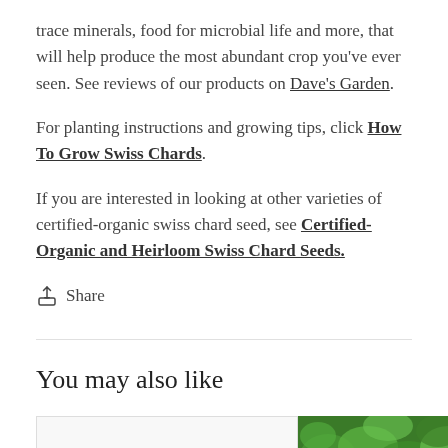trace minerals, food for microbial life and more, that will help produce the most abundant crop you've ever seen. See reviews of our products on Dave's Garden.
For planting instructions and growing tips, click How To Grow Swiss Chards.
If you are interested in looking at other varieties of certified-organic swiss chard seed, see Certified-Organic and Heirloom Swiss Chard Seeds.
Share
You may also like
[Figure (photo): Two image boxes side by side: a blank/white box on the left and a photo of green leafy swiss chard plants on the right.]